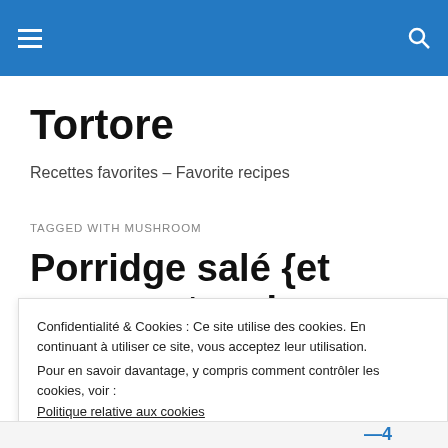Tortore – navigation bar with hamburger menu and search icon
Tortore
Recettes favorites – Favorite recipes
TAGGED WITH MUSHROOM
Porridge salé {et comment varier son alimentation}
Confidentialité & Cookies : Ce site utilise des cookies. En continuant à utiliser ce site, vous acceptez leur utilisation.
Pour en savoir davantage, y compris comment contrôler les cookies, voir :
Politique relative aux cookies
Fermer et accepter